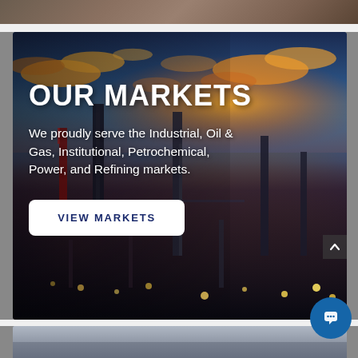[Figure (photo): Partial top strip of an industrial facility photo]
[Figure (photo): Industrial oil refinery at dusk/night with illuminated towers and dramatic sky with orange and blue clouds]
OUR MARKETS
We proudly serve the Industrial, Oil & Gas, Institutional, Petrochemical, Power, and Refining markets.
VIEW MARKETS
[Figure (photo): Partial bottom strip of another industrial/outdoor scene]